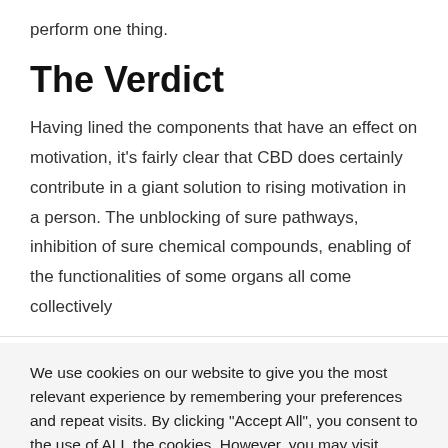perform one thing.
The Verdict
Having lined the components that have an effect on motivation, it's fairly clear that CBD does certainly contribute in a giant solution to rising motivation in a person. The unblocking of sure pathways, inhibition of sure chemical compounds, enabling of the functionalities of some organs all come collectively
We use cookies on our website to give you the most relevant experience by remembering your preferences and repeat visits. By clicking "Accept All", you consent to the use of ALL the cookies. However, you may visit "Cookie Settings" to provide a controlled consent.
Cookie Settings | Accept All